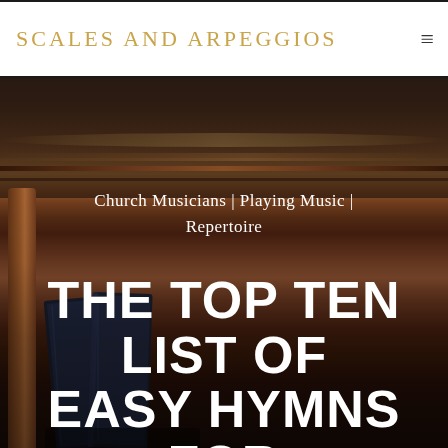SCALES AND ARPEGGIOS
[Figure (photo): Church pews interior with wooden benches and hymn books visible, blurred background with a person in the background]
Church Musicians | Playing Music | Repertoire
THE TOP TEN LIST OF EASY HYMNS FOR BEGINNING HYMN